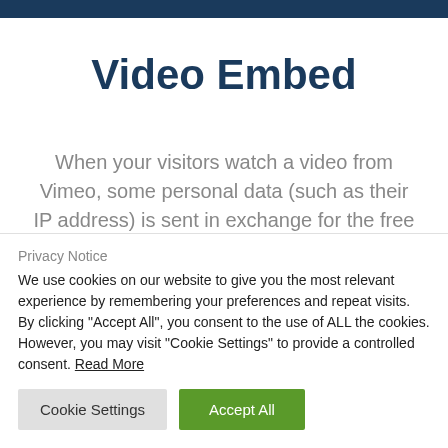Video Embed
When your visitors watch a video from Vimeo, some personal data (such as their IP address) is sent in exchange for the free
Privacy Notice
We use cookies on our website to give you the most relevant experience by remembering your preferences and repeat visits. By clicking "Accept All", you consent to the use of ALL the cookies. However, you may visit "Cookie Settings" to provide a controlled consent. Read More